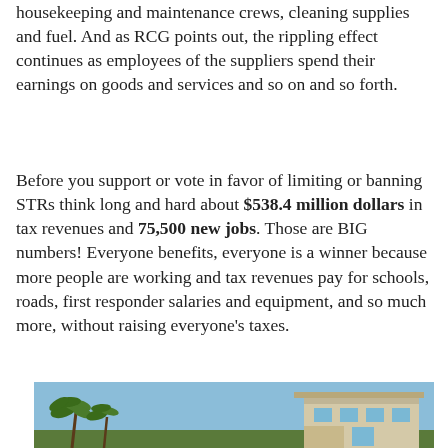housekeeping and maintenance crews, cleaning supplies and fuel. And as RCG points out, the rippling effect continues as employees of the suppliers spend their earnings on goods and services and so on and so forth.
Before you support or vote in favor of limiting or banning STRs think long and hard about $538.4 million dollars in tax revenues and 75,500 new jobs. Those are BIG numbers! Everyone benefits, everyone is a winner because more people are working and tax revenues pay for schools, roads, first responder salaries and equipment, and so much more, without raising everyone's taxes.
[Figure (photo): Exterior photo of a building with palm trees against a blue sky]